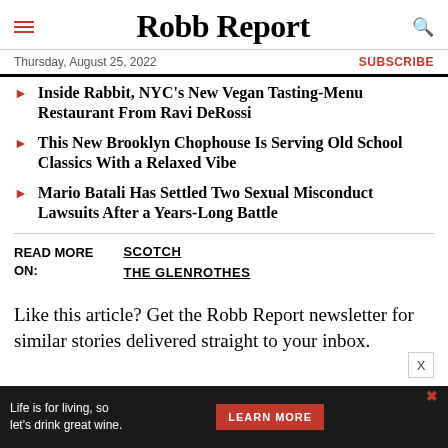Robb Report
Thursday, August 25, 2022   SUBSCRIBE
Inside Rabbit, NYC's New Vegan Tasting-Menu Restaurant From Ravi DeRossi
This New Brooklyn Chophouse Is Serving Old School Classics With a Relaxed Vibe
Mario Batali Has Settled Two Sexual Misconduct Lawsuits After a Years-Long Battle
READ MORE ON:   SCOTCH   THE GLENROTHES
Like this article? Get the Robb Report newsletter for similar stories delivered straight to your inbox.
[Figure (other): Advertisement banner: Life is for living, so let's drink great wine. LEARN MORE button.]